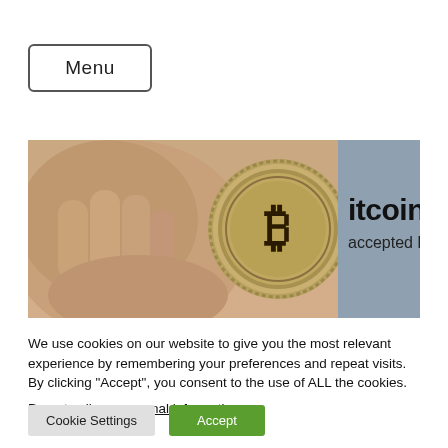Menu
[Figure (photo): A hand holding a Bitcoin coin with text 'itcoin accepted here' overlaid on the right side of the banner image.]
We use cookies on our website to give you the most relevant experience by remembering your preferences and repeat visits. By clicking “Accept”, you consent to the use of ALL the cookies.
Do not sell my personal information.
Cookie Settings   Accept